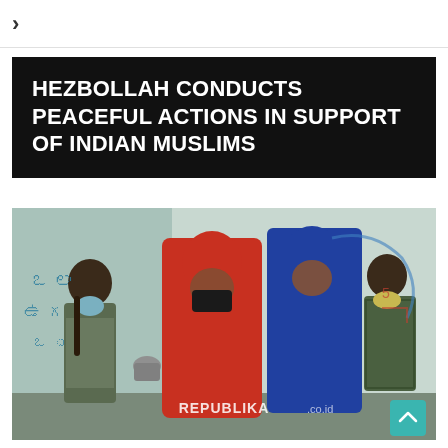›
HEZBOLLAH CONDUCTS PEACEFUL ACTIONS IN SUPPORT OF INDIAN MUSLIMS
[Figure (photo): Women wearing hijabs and face masks standing together, with Kannada script visible on a wall in the background. Watermark reads REPUBLIKA.co.id]